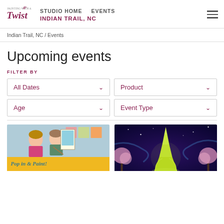STUDIO HOME  EVENTS  INDIAN TRAIL, NC
Indian Trail, NC / Events
Upcoming events
FILTER BY
All Dates
Product
Age
Event Type
[Figure (photo): Two girls smiling and painting together at a canvas, with a Pop in & Paint! sign below]
[Figure (photo): Painting of the Eiffel Tower at night with purple sky and cherry blossom trees]